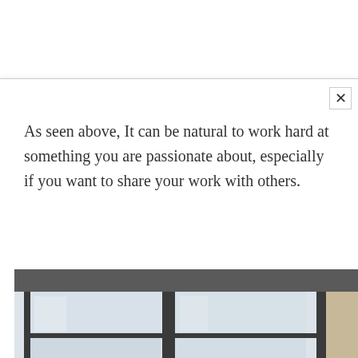As seen above, It can be natural to work hard at something you are passionate about, especially if you want to share your work with others.
[Figure (photo): Photo of an office interior with large floor-to-ceiling windows and a person partially visible in the lower right corner.]